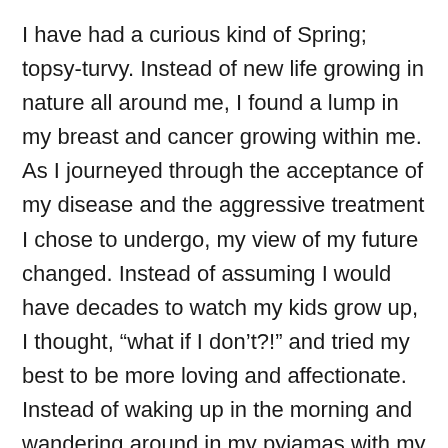I have had a curious kind of Spring; topsy-turvy. Instead of new life growing in nature all around me, I found a lump in my breast and cancer growing within me. As I journeyed through the acceptance of my disease and the aggressive treatment I chose to undergo, my view of my future changed. Instead of assuming I would have decades to watch my kids grow up, I thought, “what if I don’t?!” and tried my best to be more loving and affectionate. Instead of waking up in the morning and wandering around in my pyjamas with my hair standing on end, I thought, “what if I lose this hair in a few months, and look shitty even if I try to look pretty?” and showered, styled my hair, and put on makeup. I looked at my enormous garden space and accepted that I would have times when I wouldn’t have the strength to dig in the dirt and pull the weeds. I begrudgingly admired the beautiful hanging baskets full of